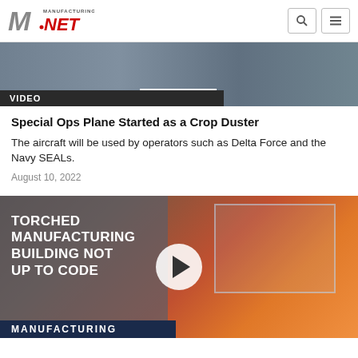Manufacturing.NET
[Figure (screenshot): Aerial video thumbnail showing water and landscape with 'MINUTE' text overlay and 'VIDEO' label]
Special Ops Plane Started as a Crop Duster
The aircraft will be used by operators such as Delta Force and the Navy SEALs.
August 10, 2022
[Figure (screenshot): Video thumbnail showing a burning building with text 'TORCHED MANUFACTURING BUILDING NOT UP TO CODE' and a play button, with 'MANUFACTURING' banner at bottom]